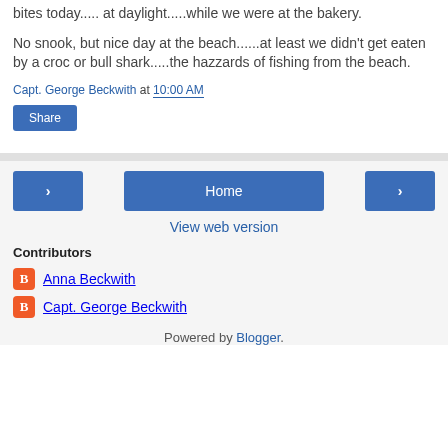bites today..... at daylight.....while we were at the bakery.
No snook, but nice day at the beach......at least we didn't get eaten by a croc or bull shark.....the hazzards of fishing from the beach.
Capt. George Beckwith at 10:00 AM
Share
< Home >
View web version
Contributors
Anna Beckwith
Capt. George Beckwith
Powered by Blogger.